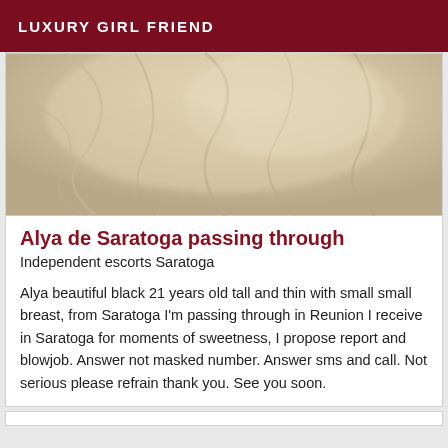LUXURY GIRL FRIEND
[Figure (photo): Close-up photo of silky beige/cream fabric with soft folds and draped texture]
Alya de Saratoga passing through
Independent escorts Saratoga
Alya beautiful black 21 years old tall and thin with small small breast, from Saratoga I'm passing through in Reunion I receive in Saratoga for moments of sweetness, I propose report and blowjob. Answer not masked number. Answer sms and call. Not serious please refrain thank you. See you soon.